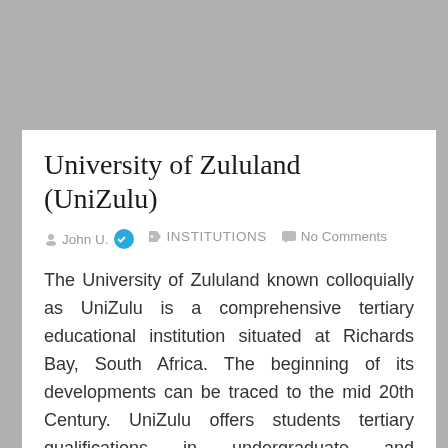University of Zululand (UniZulu)
John U. INSTITUTIONS No Comments
The University of Zululand known colloquially as UniZulu is a comprehensive tertiary educational institution situated at Richards Bay, South Africa. The beginning of its developments can be traced to the mid 20th Century. UniZulu offers students tertiary qualifications in undergraduate and postgraduate degrees.